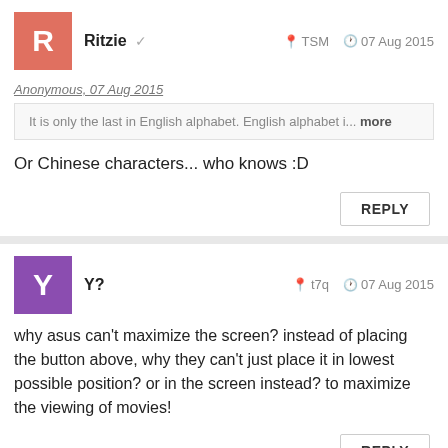Ritzie ✓   TSM   07 Aug 2015
Anonymous, 07 Aug 2015
It is only the last in English alphabet. English alphabet i... more
Or Chinese characters... who knows :D
REPLY
Y?   t7q   07 Aug 2015
why asus can't maximize the screen? instead of placing the button above, why they can't just place it in lowest possible position? or in the screen instead? to maximize the viewing of movies!
REPLY